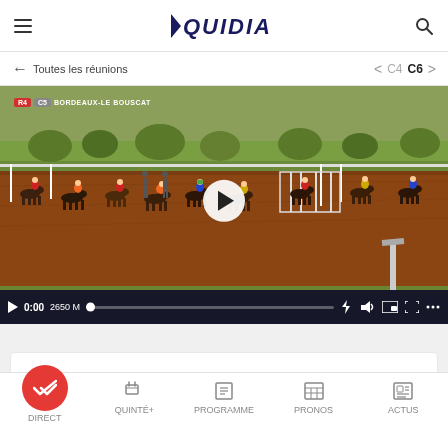EQUIDIA
← Toutes les réunions   < C4  C6 >
[Figure (screenshot): Horse race video player showing multiple horse and jockey pairs racing on a dirt track at Bordeaux-Le Bouscat. Video is paused showing timestamp 0:00, distance 2650 M. Tags show R4 C5 BORDEAUX-LE BOUSCAT in top left. Play button visible in center. Video controls bar at bottom with progress bar and media control icons.]
DIRECT  QUINTÉ+  PROGRAMME  PRONOS  ACTUS